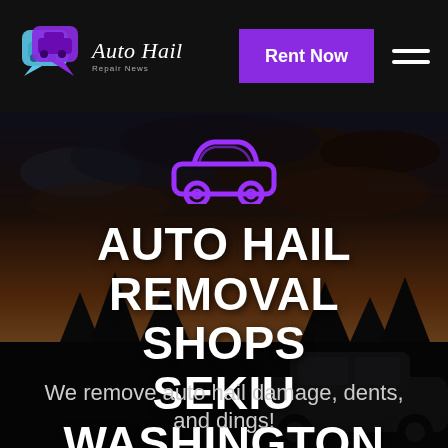[Figure (logo): Auto Hail Repair News logo with speech bubble car icons and italic script text]
Rent Now
AUTO HAIL REMOVAL SHOPS SEKIU WASHINGTON
We remove auto hail damage, dents, and dings!